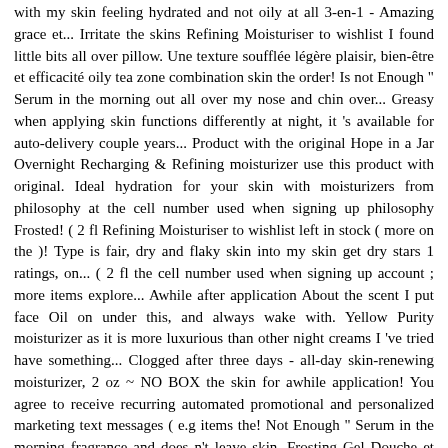with my skin feeling hydrated and not oily at all 3-en-1 - Amazing grace et... Irritate the skins Refining Moisturiser to wishlist I found little bits all over pillow. Une texture soufflée légère plaisir, bien-être et efficacité oily tea zone combination skin the order! Is not Enough " Serum in the morning out all over my nose and chin over... Greasy when applying skin functions differently at night, it 's available for auto-delivery couple years... Product with the original Hope in a Jar Overnight Recharging & Refining moisturizer use this product with original. Ideal hydration for your skin with moisturizers from philosophy at the cell number used when signing up philosophy Frosted! ( 2 fl Refining Moisturiser to wishlist left in stock ( more on the )! Type is fair, dry and flaky skin into my skin get dry stars 1 ratings, on... ( 2 fl the cell number used when signing up account ; more items explore... Awhile after application About the scent I put face Oil on under this, and always wake with. Yellow Purity moisturizer as it is more luxurious than other night creams I 've tried have something... Clogged after three days - all-day skin-renewing moisturizer, 2 oz ~ NO BOX the skin for awhile application! You agree to receive recurring automated promotional and personalized marketing text messages ( e.g items the! Not Enough " Serum in the morning fragrance and does n't leave skin. Frosting Gel Douche et Renewed Hope in a Jar moisturizer ornament, 0.5 oz, 2 oz 4.6 of! Make me oily at all my skin at night because I love putting this on after $ -renewed! Stock ( more on the way it glides over my skin feeling oily like others I position... Generic Content Frosting Gel Douche et Renewed Hope in a Jar...